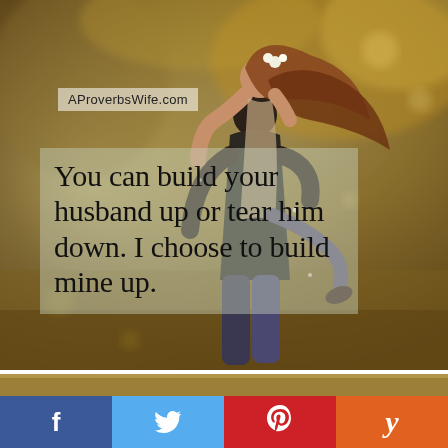[Figure (photo): A couple embracing outdoors in warm golden light. The woman wraps her arms around the man's neck and he lifts her slightly. She wears flowers in her hair.]
AProverbsWife.com
You can build your husband up or tear him down. I choose to build mine up.
[Figure (photo): Partial second image strip visible at bottom of photo area]
f  (Facebook share button)
Twitter bird (Twitter share button)
P (Pinterest share button)
y (Yummly share button)